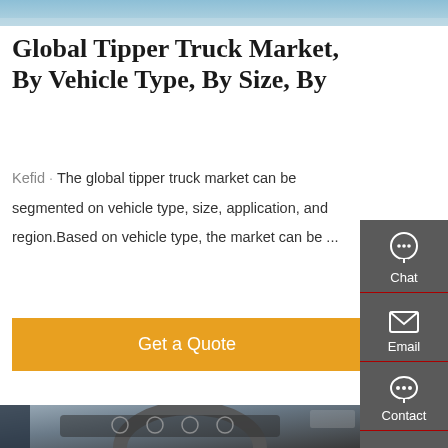[Figure (photo): Top portion of a truck cab exterior photo, cropped]
Global Tipper Truck Market, By Vehicle Type, By Size, By
Kefid · The global tipper truck market can be segmented on vehicle type, size, application, and region.Based on vehicle type, the market can be ...
Get a Quote
[Figure (photo): Interior view of a truck cab showing steering wheel, dashboard, gauges, and controls]
[Figure (infographic): Right sidebar with Chat, Email, Contact, and Top navigation icons on a dark grey background]